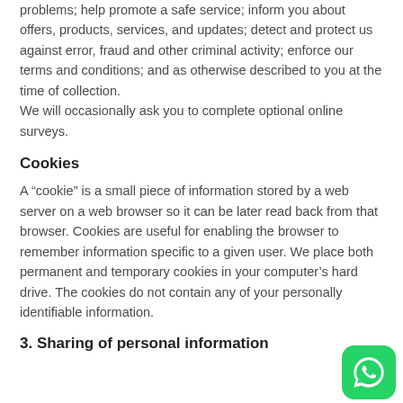problems; help promote a safe service; inform you about offers, products, services, and updates; detect and protect us against error, fraud and other criminal activity; enforce our terms and conditions; and as otherwise described to you at the time of collection.
We will occasionally ask you to complete optional online surveys.
Cookies
A “cookie” is a small piece of information stored by a web server on a web browser so it can be later read back from that browser. Cookies are useful for enabling the browser to remember information specific to a given user. We place both permanent and temporary cookies in your computer’s hard drive. The cookies do not contain any of your personally identifiable information.
3. Sharing of personal information